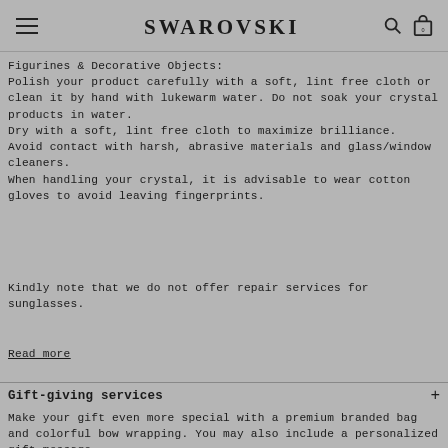SWAROVSKI
Figurines & Decorative Objects:
Polish your product carefully with a soft, lint free cloth or clean it by hand with lukewarm water. Do not soak your crystal products in water.
Dry with a soft, lint free cloth to maximize brilliance.
Avoid contact with harsh, abrasive materials and glass/window cleaners.
When handling your crystal, it is advisable to wear cotton gloves to avoid leaving fingerprints.
Kindly note that we do not offer repair services for sunglasses.
Read more
Gift-giving services
Make your gift even more special with a premium branded bag and colorful bow wrapping. You may also include a personalized gift message.
Please note: